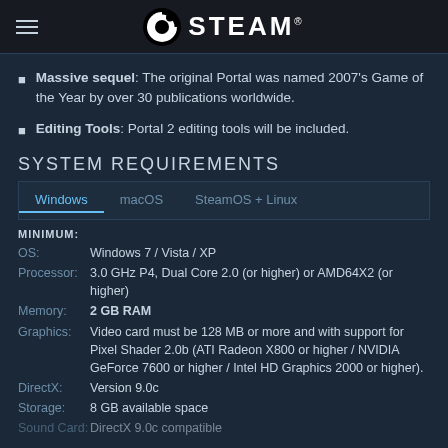STEAM
Massive sequel: The original Portal was named 2007’s Game of the Year by over 30 publications worldwide.
Editing Tools: Portal 2 editing tools will be included.
SYSTEM REQUIREMENTS
Windows  macOS  SteamOS + Linux
MINIMUM:
OS:  Windows 7 / Vista / XP
Processor:  3.0 GHz P4, Dual Core 2.0 (or higher) or AMD64X2 (or higher)
Memory:  2 GB RAM
Graphics:  Video card must be 128 MB or more and with support for Pixel Shader 2.0b (ATI Radeon X800 or higher / NVIDIA GeForce 7600 or higher / Intel HD Graphics 2000 or higher).
DirectX:  Version 9.0c
Storage:  8 GB available space
Sound Card:  DirectX 9.0c compatible